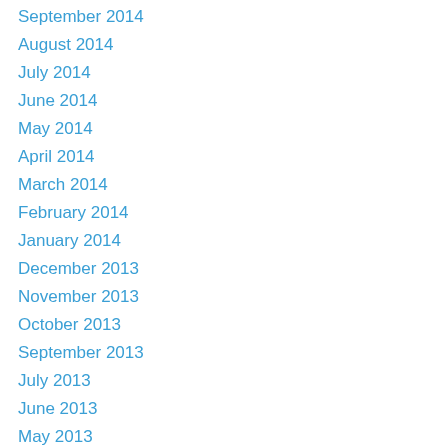September 2014
August 2014
July 2014
June 2014
May 2014
April 2014
March 2014
February 2014
January 2014
December 2013
November 2013
October 2013
September 2013
July 2013
June 2013
May 2013
April 2013
March 2013
February 2013
January 2013